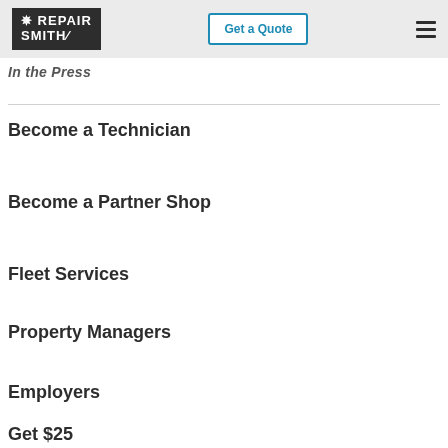[Figure (logo): RepairSmith logo — white bold text on dark background]
[Figure (other): Get a Quote button with blue border]
[Figure (other): Hamburger menu icon]
In the Press
Become a Technician
Become a Partner Shop
Fleet Services
Property Managers
Employers
Get $25